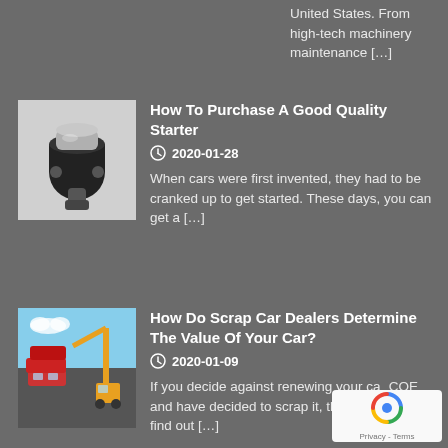United States. From high-tech machinery maintenance […]
[Figure (photo): A car starter motor component, silver and black metallic device on white background]
How To Purchase A Good Quality Starter
2020-01-28
When cars were first invented, they had to be cranked up to get started. These days, you can get a […]
[Figure (photo): A junkyard or scrap yard showing stacked crushed cars with an excavator crane, outdoor daylight scene]
How Do Scrap Car Dealers Determine The Value Of Your Car?
2020-01-09
If you decide against renewing your car COE and have decided to scrap it, the should first find out […]